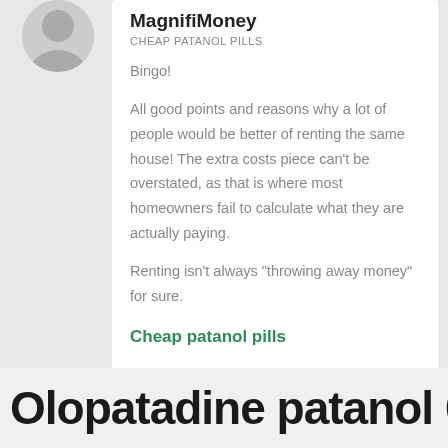[Figure (photo): Partial avatar/profile photo, circular crop, grayscale person silhouette]
MagnifiMoney
CHEAP PATANOL PILLS
Bingo!
All good points and reasons why a lot of people would be better of renting the same house! The extra costs piece can’t be overstated, as that is where most homeowners fail to calculate what they are actually paying.
Renting isn’t always “throwing away money” for sure.
Cheap patanol pills
Olopatadine patanol 0.1